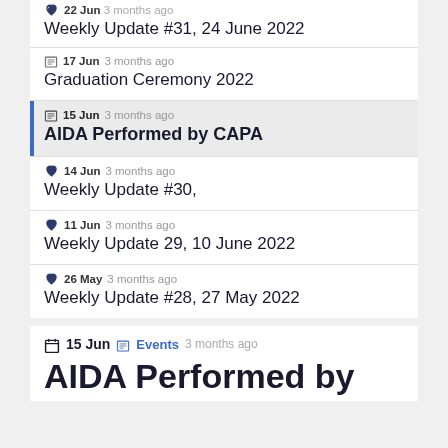22 Jun 3 months ago
Weekly Update #31, 24 June 2022
17 Jun 3 months ago
Graduation Ceremony 2022
15 Jun 3 months ago
AIDA Performed by CAPA
14 Jun 3 months ago
Weekly Update #30,
11 Jun 3 months ago
Weekly Update 29, 10 June 2022
26 May 3 months ago
Weekly Update #28, 27 May 2022
15 Jun Events 3 months ago
AIDA Performed by